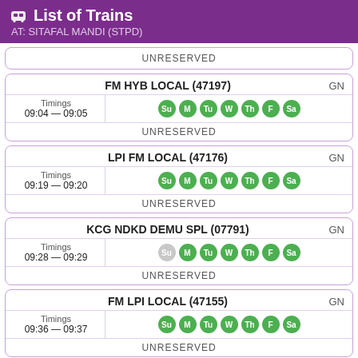List of Trains AT: SITAFAL MANDI (STPD)
UNRESERVED
| Train | GN |
| --- | --- |
| FM HYB LOCAL (47197) | GN |
| Timings 09:04 — 09:05 | Su M Tu W Th F Sa |
| UNRESERVED |  |
| Train | GN |
| --- | --- |
| LPI FM LOCAL (47176) | GN |
| Timings 09:19 — 09:20 | Su M Tu W Th F Sa |
| UNRESERVED |  |
| Train | GN |
| --- | --- |
| KCG NDKD DEMU SPL (07791) | GN |
| Timings 09:28 — 09:29 | Su(inactive) M Tu W Th F Sa |
| UNRESERVED |  |
| Train | GN |
| --- | --- |
| FM LPI LOCAL (47155) | GN |
| Timings 09:36 — 09:37 | Su M Tu W Th F Sa |
| UNRESERVED |  |
| Train | GN |
| --- | --- |
| SC UR MEMU SPL (07055) | GN |
| Timings 09:44 — 09:45 | Su M Tu W Th F Sa(inactive) |
| UNRESERVED |  |
| Train | GN |
| --- | --- |
| LPI FM LOCAL (47177) | GN |
| Timings | Su M Tu W Th F Sa |